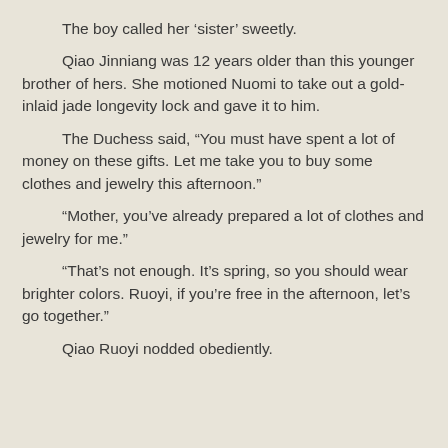The boy called her ‘sister’ sweetly.
Qiao Jinniang was 12 years older than this younger brother of hers. She motioned Nuomi to take out a gold-inlaid jade longevity lock and gave it to him.
The Duchess said, “You must have spent a lot of money on these gifts. Let me take you to buy some clothes and jewelry this afternoon.”
“Mother, you’ve already prepared a lot of clothes and jewelry for me.”
“That’s not enough. It’s spring, so you should wear brighter colors. Ruoyi, if you’re free in the afternoon, let’s go together.”
Qiao Ruoyi nodded obediently.